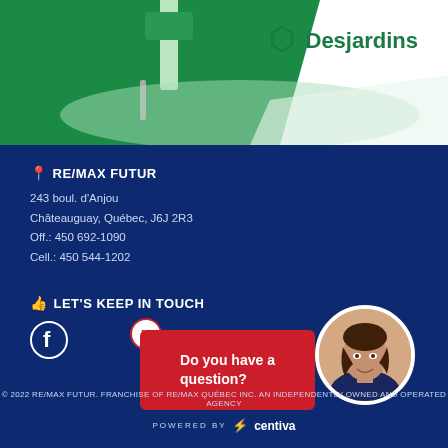[Figure (photo): Top section with green paint roller image on white background with Desjardins logo]
RE/MAX FUTUR
243 boul. d'Anjou
Châteauguay, Québec, J6J 2R3
Off.: 450 692-1090
Cell.: 450 544-1202
LET'S KEEP IN TOUCH
[Figure (illustration): Facebook icon]
Do you have a question?
[Figure (photo): Agent photo - woman with dark hair smiling]
© 2022 RE/MAX FUTUR. FRANCHISE OF RE/MAX QUÉBEC INC. AN INDEPENDENTLY OWNED AND OPERATED AGENCY
POWERED BY centiva